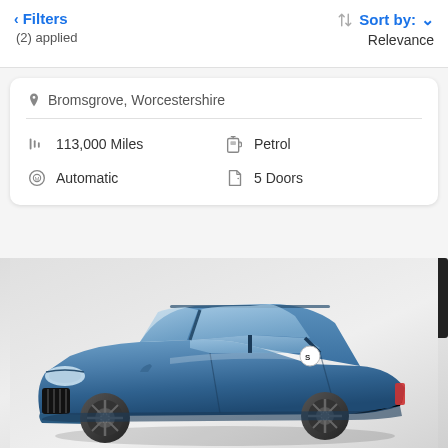< Filters (2) applied | Sort by: ▾ Relevance
Bromsgrove, Worcestershire
113,000 Miles
Petrol
Automatic
5 Doors
[Figure (photo): Blue Skoda estate/wagon car photographed against a light grey background, front three-quarter view showing the car from the front-left angle.]